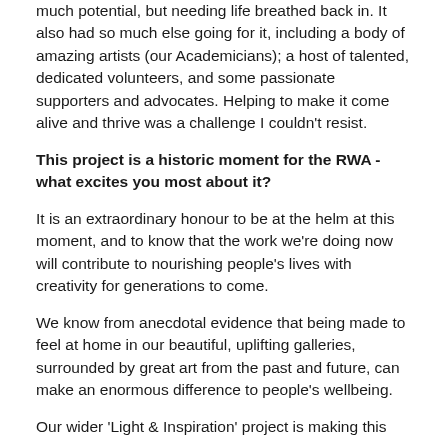much potential, but needing life breathed back in. It also had so much else going for it, including a body of amazing artists (our Academicians); a host of talented, dedicated volunteers, and some passionate supporters and advocates. Helping to make it come alive and thrive was a challenge I couldn't resist.
This project is a historic moment for the RWA - what excites you most about it?
It is an extraordinary honour to be at the helm at this moment, and to know that the work we're doing now will contribute to nourishing people's lives with creativity for generations to come.
We know from anecdotal evidence that being made to feel at home in our beautiful, uplifting galleries, surrounded by great art from the past and future, can make an enormous difference to people's wellbeing.
Our wider 'Light & Inspiration' project is making this